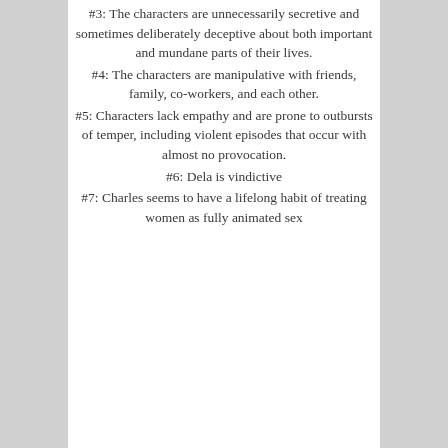#3: The characters are unnecessarily secretive and sometimes deliberately deceptive about both important and mundane parts of their lives.
#4: The characters are manipulative with friends, family, co-workers, and each other.
#5: Characters lack empathy and are prone to outbursts of temper, including violent episodes that occur with almost no provocation.
#6: Dela is vindictive
#7: Charles seems to have a lifelong habit of treating women as fully animated sex